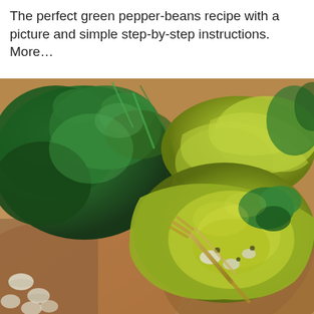The perfect green pepper-beans recipe with a picture and simple step-by-step instructions. More…
[Figure (photo): Close-up photo of a green pepper stuffed with beans and garnished, with a fork inside the pepper, alongside fresh green herbs (cilantro/parsley) and white beans on a wooden surface.]